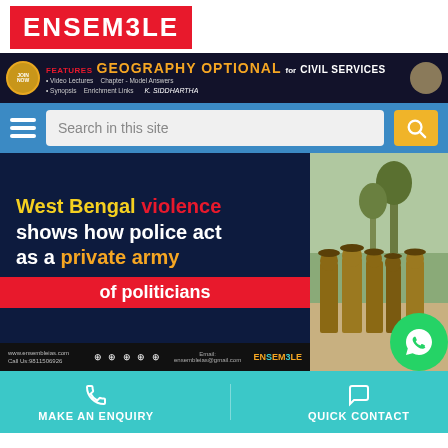[Figure (logo): Ensemble IAS logo with red border and red text]
[Figure (infographic): Advertisement banner for Geography Optional for Civil Services by K. Siddhartha with features: Video Lectures, Chapter Model Answers, Synopsis, Enrichment Links]
[Figure (screenshot): Navigation bar with hamburger menu and search box saying 'Search in this site' with yellow search button]
[Figure (infographic): Article thumbnail: 'West Bengal violence shows how police act as a private army of politicians' with police officers image on right side]
MAKE AN ENQUIRY
QUICK CONTACT